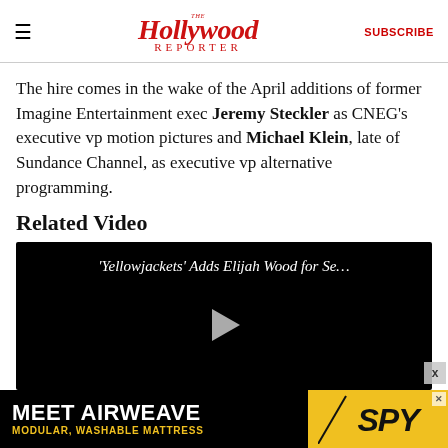The Hollywood Reporter | SUBSCRIBE
The hire comes in the wake of the April additions of former Imagine Entertainment exec Jeremy Steckler as CNEG's executive vp motion pictures and Michael Klein, late of Sundance Channel, as executive vp alternative programming.
Related Video
[Figure (screenshot): Video player showing 'Yellowjackets' Adds Elijah Wood for Se… with play button on black background]
[Figure (infographic): Advertisement banner: MEET AIRWEAVE - MODULAR, WASHABLE MATTRESS with SPY logo on yellow background]